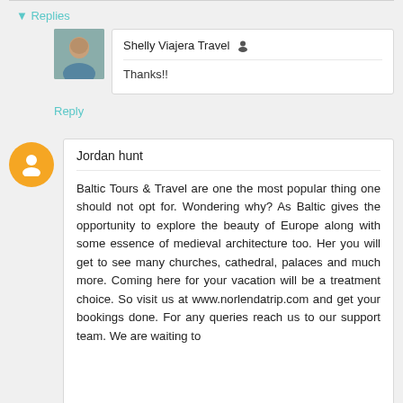▾ Replies
Shelly Viajera Travel 👤
Thanks!!
Reply
Jordan hunt
Baltic Tours & Travel are one the most popular thing one should not opt for. Wondering why? As Baltic gives the opportunity to explore the beauty of Europe along with some essence of medieval architecture too. Her you will get to see many churches, cathedral, palaces and much more. Coming here for your vacation will be a treatment choice. So visit us at www.norlendatrip.com and get your bookings done. For any queries reach us to our support team. We are waiting to